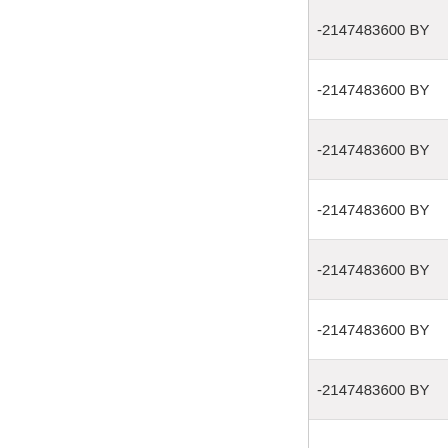| -2147483600 BY |
| -2147483600 BY |
| -2147483600 BY |
| -2147483600 BY |
| -2147483600 BY |
| -2147483600 BY |
| -2147483600 BY |